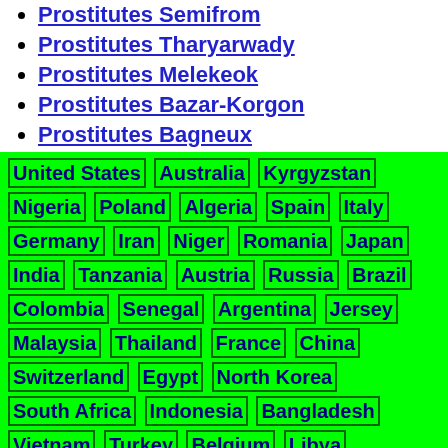Prostitutes Semifrom
Prostitutes Tharyarwady
Prostitutes Melekeok
Prostitutes Bazar-Korgon
Prostitutes Bagneux
United States Australia Kyrgyzstan Nigeria Poland Algeria Spain Italy Germany Iran Niger Romania Japan India Tanzania Austria Russia Brazil Colombia Senegal Argentina Jersey Malaysia Thailand France China Switzerland Egypt North Korea South Africa Indonesia Bangladesh Vietnam Turkey Belgium Libya Portugal Sweden Cuba Bolivia Angola Kazakhstan Peru Croatia Finland Djibouti Mexico El Salvador Philippines Guam Yemen Canada Czech Republic Bulgaria Myanmar Pakistan Netherlands Ukraine United Kingdom Greece Sri Lanka Costa Rica Dominican Republic Burkina Faso Zimbabwe Israel Madagascar Slovakia Democratic Republic of the Congo Uruguay Kenya Serbia Sudan Cameroon Rwanda Hungary Palau Kosovo Ivory Coast Ecuador Qatar Togo Guinea Mali Venezuela Slovenia Kuwait Taiwan South Korea Mauritius Gabon Azerbaijan Georgia Afghanistan Uzbekistan Fiji Bahamas Belarus